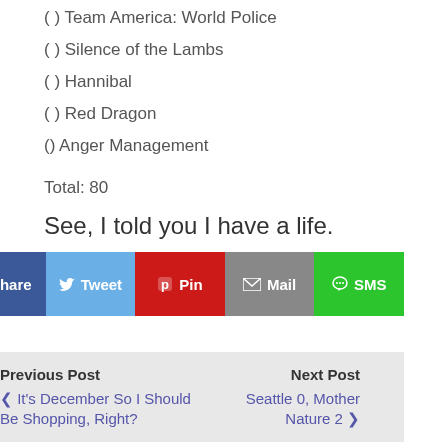() Team America: World Police
() Silence of the Lambs
() Hannibal
() Red Dragon
() Anger Management
Total: 80
See, I told you I have a life.
[Figure (infographic): Social share buttons: Share (Facebook), Tweet (Twitter), Pin (Pinterest), Mail, SMS]
Previous Post | Next Post | < It's December So I Should Be Shopping, Right? | Seattle 0, Mother Nature 2 >
13 responses